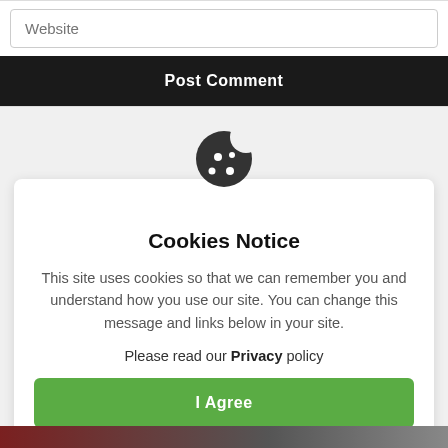Website
Post Comment
[Figure (illustration): Cookie icon - dark grey cookie with bite taken out and white dot sprinkles]
Cookies Notice
This site uses cookies so that we can remember you and understand how you use our site. You can change this message and links below in your site.
Please read our Privacy policy
I Agree